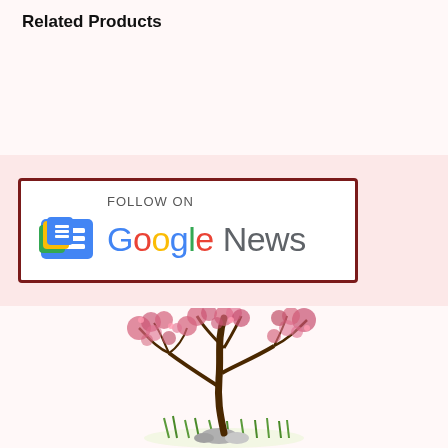Related Products
[Figure (logo): Follow on Google News banner with Google News logo and stylized text]
[Figure (illustration): Illustration of a flowering bonsai tree with pink/red blossoms, dark branches, green grass at the base, on a white background]